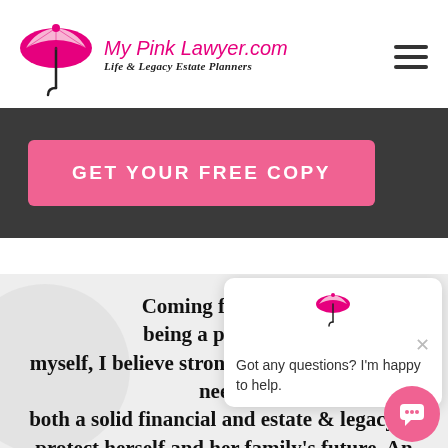[Figure (logo): Pink umbrella logo with 'My Pink Lawyer.com' in pink cursive and 'Life & Legacy Estate Planners' in bold italic below]
[Figure (other): Hamburger menu icon (three horizontal lines) in upper right corner]
GET YOUR FREE COPY
[Figure (logo): Small pink umbrella icon above chat popup]
Got any questions? I'm happy to help.
Coming from a lin being a profession myself, I believe strongly that every woman needs both a solid financial and estate & legacy pl protect herself and her family's future. And you're wondering, we do work with men too.